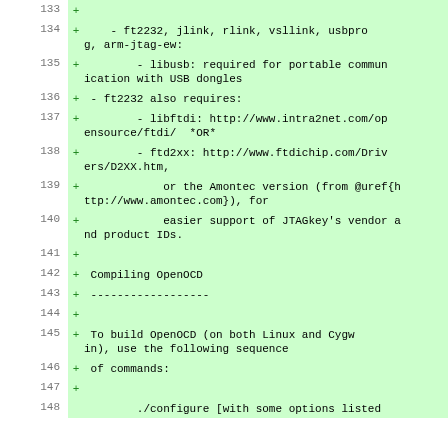Diff/code view showing lines 133-148 of OpenOCD build documentation with added lines (+) including dependencies (ft2232, jlink, rlink, vsllink, usbprog, arm-jtag-ew, libusb, libftdi, ftd2xx) and build instructions for Compiling OpenOCD on Linux and Cygwin.